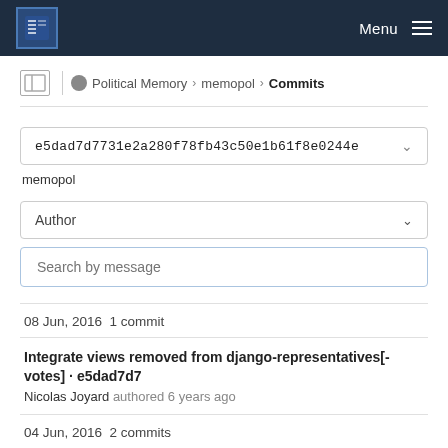Menu
Political Memory › memopol › Commits
e5dad7d7731e2a280f78fb43c50e1b61f8e0244e
memopol
Author
Search by message
08 Jun, 2016 1 commit
Integrate views removed from django-representatives[-votes] · e5dad7d7
Nicolas Joyard authored 6 years ago
04 Jun, 2016 2 commits